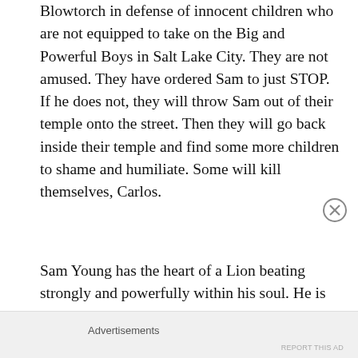Blowtorch in defense of innocent children who are not equipped to take on the Big and Powerful Boys in Salt Lake City. They are not amused. They have ordered Sam to just STOP. If he does not, they will throw Sam out of their temple onto the street. Then they will go back inside their temple and find some more children to shame and humiliate. Some will kill themselves, Carlos.
Sam Young has the heart of a Lion beating strongly and powerfully within his soul. He is PROTECTING THE CHILDREN . . . the very same children The Brethren consider to be nothing more than consumable collateral damage . . . not worth even a passing thought . . . when what they
Advertisements